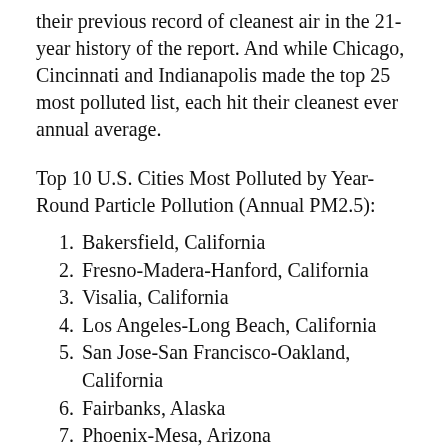their previous record of cleanest air in the 21-year history of the report. And while Chicago, Cincinnati and Indianapolis made the top 25 most polluted list, each hit their cleanest ever annual average.
Top 10 U.S. Cities Most Polluted by Year-Round Particle Pollution (Annual PM2.5):
1. Bakersfield, California
2. Fresno-Madera-Hanford, California
3. Visalia, California
4. Los Angeles-Long Beach, California
5. San Jose-San Francisco-Oakland, California
6. Fairbanks, Alaska
7. Phoenix-Mesa, Arizona
8. El Centro, California
9. Pittsburgh-New Castle-Weirton, PA-OH-WV
10. Detroit-Warren-Ann Arbor, Michigan